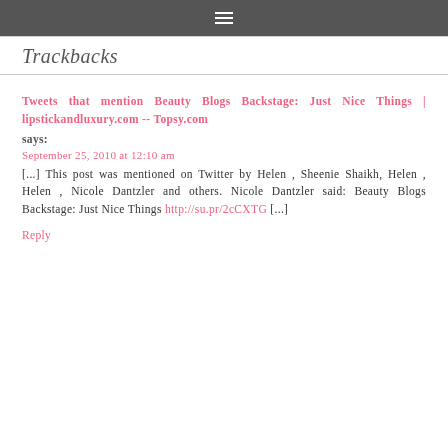☰
Trackbacks
Tweets that mention Beauty Blogs Backstage: Just Nice Things | lipstickandluxury.com -- Topsy.com says:
September 25, 2010 at 12:10 am
[...] This post was mentioned on Twitter by Helen , Sheenie Shaikh, Helen , Helen , Nicole Dantzler and others. Nicole Dantzler said: Beauty Blogs Backstage: Just Nice Things http://su.pr/2cCXTG [...]
Reply